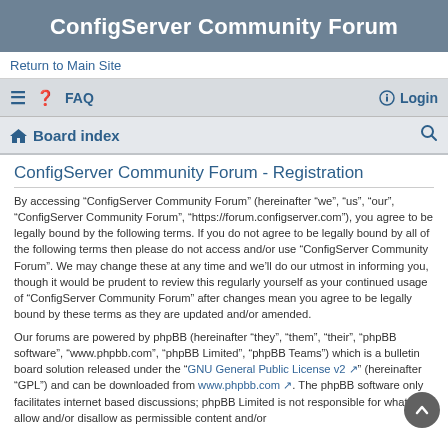ConfigServer Community Forum
Return to Main Site
≡  FAQ   Login
Board index  🔍
ConfigServer Community Forum - Registration
By accessing “ConfigServer Community Forum” (hereinafter “we”, “us”, “our”, “ConfigServer Community Forum”, “https://forum.configserver.com”), you agree to be legally bound by the following terms. If you do not agree to be legally bound by all of the following terms then please do not access and/or use “ConfigServer Community Forum”. We may change these at any time and we’ll do our utmost in informing you, though it would be prudent to review this regularly yourself as your continued usage of “ConfigServer Community Forum” after changes mean you agree to be legally bound by these terms as they are updated and/or amended.
Our forums are powered by phpBB (hereinafter “they”, “them”, “their”, “phpBB software”, “www.phpbb.com”, “phpBB Limited”, “phpBB Teams”) which is a bulletin board solution released under the “GNU General Public License v2” (hereinafter “GPL”) and can be downloaded from www.phpbb.com. The phpBB software only facilitates internet based discussions; phpBB Limited is not responsible for what we allow and/or disallow as permissible content and/or